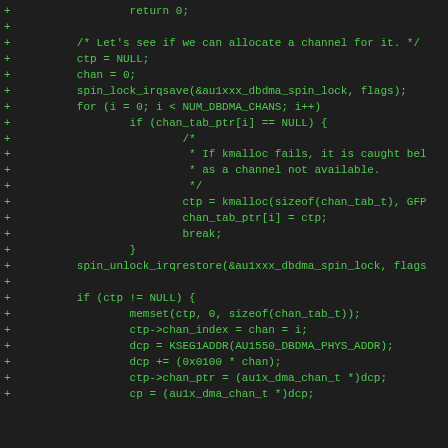Code diff showing kernel DMA channel allocation code in C